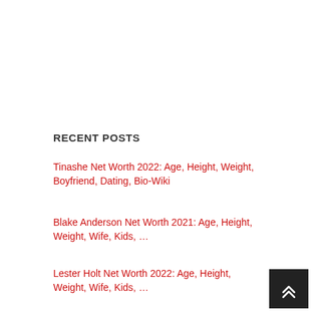RECENT POSTS
Tinashe Net Worth 2022: Age, Height, Weight, Boyfriend, Dating, Bio-Wiki
Blake Anderson Net Worth 2021: Age, Height, Weight, Wife, Kids, …
Lester Holt Net Worth 2022: Age, Height, Weight, Wife, Kids, …
Steve Stricker Net Worth 2021: Age, Height, Weight, Wife, Kids, Bio-Wiki
Peter Cullen Net Worth 2021: Age, Height, …